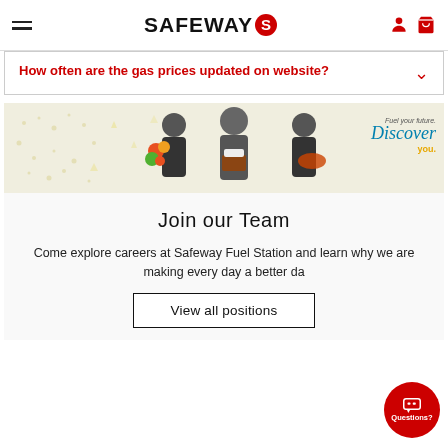SAFEWAY
How often are the gas prices updated on website?
[Figure (photo): Three Safeway employees holding flowers, cake, and a food item. Text reads 'Fuel your future. Discover you.' on a light yellow/beige background with gold stars.]
Join our Team
Come explore careers at Safeway Fuel Station and learn why we are making every day a better da...
View all positions